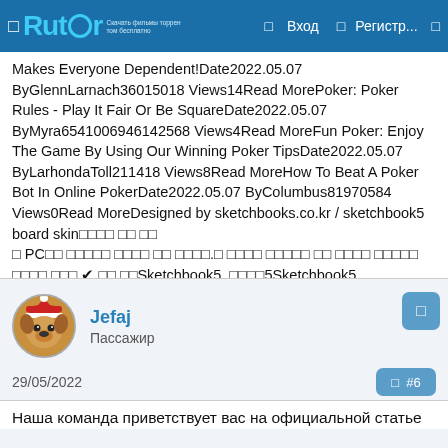□ Rutor  □ Вход  □ Регистр...  □
Makes Everyone Dependent!Date2022.05.07 ByGlennLarnach36015018 Views14Read MorePoker: Poker Rules - Play It Fair Or Be SquareDate2022.05.07 ByMyra65410069461 42568 Views4Read MoreFun Poker: Enjoy The Game By Using Our Winning Poker TipsDate2022.05.07 ByLarhondaToll211418 Views8Read MoreHow To Beat A Poker Bot In Online PokerDate2022.05.07 ByColumbus81970584 Views0Read MoreDesigned by sketchbooks.co.kr / sketchbook5 board skin□□□□ □□ □□
□ PC□□ □□□□□ □□□□ □□ □□□□.□ □□□□ □□□□□ □□ □□□□ □□□□□ □□□□ □□□.✔ □□ □□Sketchbook5, □□□□5Sketchbook5, □□□□5Sketchbook5, □□□□5Sketchbook5, □□□□5
Jefaj
Пассажир
29/05/2022  #6
Наша команда приветствует вас на официальной статье